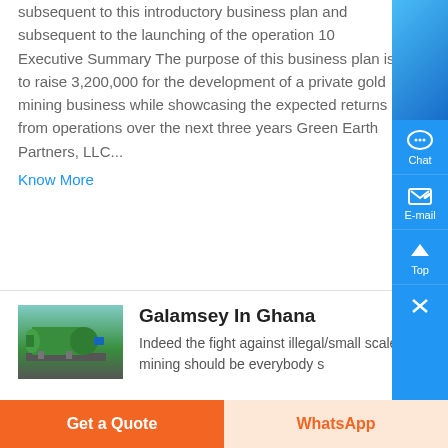subsequent to this introductory business plan and subsequent to the launching of the operation 10 Executive Summary The purpose of this business plan is to raise 3,200,000 for the development of a private gold mining business while showcasing the expected returns from operations over the next three years Green Earth Partners, LLC...
Know More
[Figure (photo): Green industrial mining machinery (large green cylindrical ball mill) in a workshop setting]
Galamsey In Ghana
Indeed the fight against illegal/small scale mining should be everybody s
Get a Quote
WhatsApp